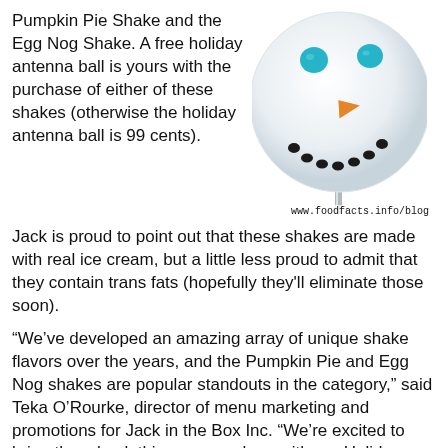Pumpkin Pie Shake and the Egg Nog Shake. A free holiday antenna ball is yours with the purchase of either of these shakes (otherwise the holiday antenna ball is 99 cents).
[Figure (illustration): Snowman-face antenna ball on a metal stick with teal eyes, orange carrot nose, and black dot smile on white sphere. Watermark: www.foodfacts.info/blog]
Jack is proud to point out that these shakes are made with real ice cream, but a little less proud to admit that they contain trans fats (hopefully they'll eliminate those soon).
“We’ve developed an amazing array of unique shake flavors over the years, and the Pumpkin Pie and Egg Nog shakes are popular standouts in the category,” said Teka O’Rourke, director of menu marketing and promotions for Jack in the Box Inc. “We’re excited to bring them back this season, along with our Holiday Antenna Ball, as a gift to our guests.”
The shakes are available in 16 and 24 oz sizes and priced at